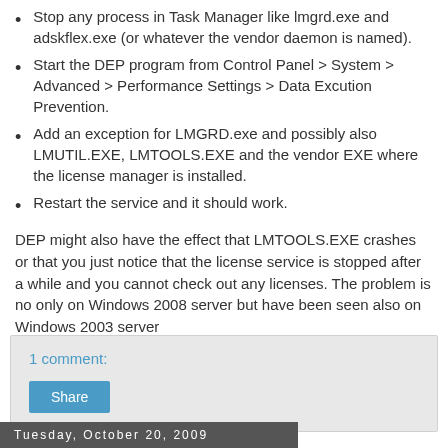Stop any process in Task Manager like lmgrd.exe and adskflex.exe (or whatever the vendor daemon is named).
Start the DEP program from Control Panel > System > Advanced > Performance Settings > Data Excution Prevention.
Add an exception for LMGRD.exe and possibly also LMUTIL.EXE, LMTOOLS.EXE and the vendor EXE where the license manager is installed.
Restart the service and it should work.
DEP might also have the effect that LMTOOLS.EXE crashes or that you just notice that the license service is stopped after a while and you cannot check out any licenses. The problem is no only on Windows 2008 server but have been seen also on Windows 2003 server
1 comment:
Share
Tuesday, October 20, 2009